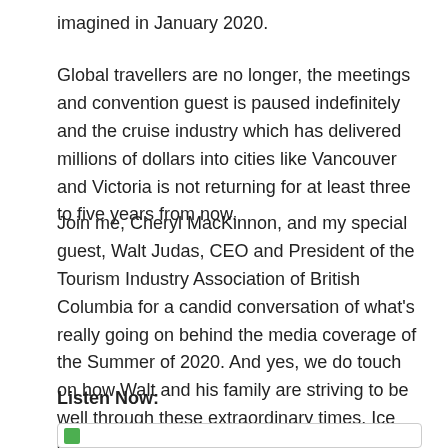imagined in January 2020.
Global travellers are no longer, the meetings and convention guest is paused indefinitely and the cruise industry which has delivered millions of dollars into cities like Vancouver and Victoria is not returning for at least three to five years from now.
Join me, Cheryl MacKinnon, and my special guest, Walt Judas, CEO and President of the Tourism Industry Association of British Columbia for a candid conversation of what’s really going on behind the media coverage of the Summer of 2020. And yes, we do touch on how Walt and his family are striving to be well through these extraordinary times. Ice cream plays a major role.
Listen Now: